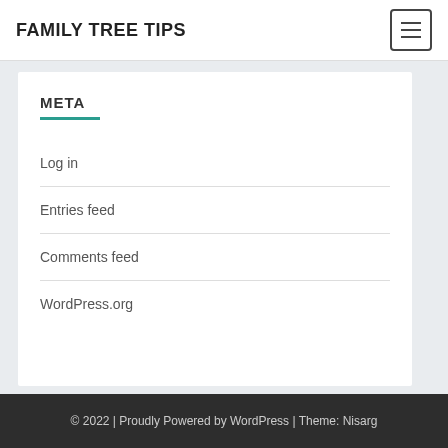FAMILY TREE TIPS
META
Log in
Entries feed
Comments feed
WordPress.org
© 2022 | Proudly Powered by WordPress | Theme: Nisarg